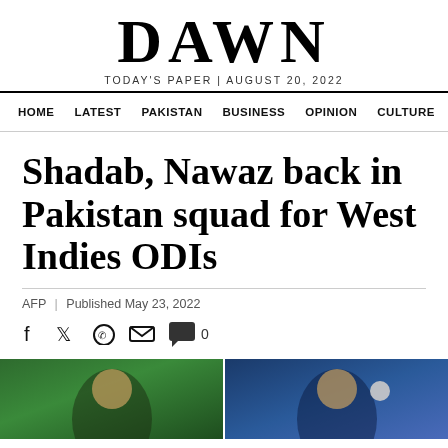DAWN — TODAY'S PAPER | AUGUST 20, 2022
HOME  LATEST  PAKISTAN  BUSINESS  OPINION  CULTURE
Shadab, Nawaz back in Pakistan squad for West Indies ODIs
AFP | Published May 23, 2022
[Figure (photo): Two cricket players, one on green background (left half) and one on blue background holding a cricket ball (right half)]